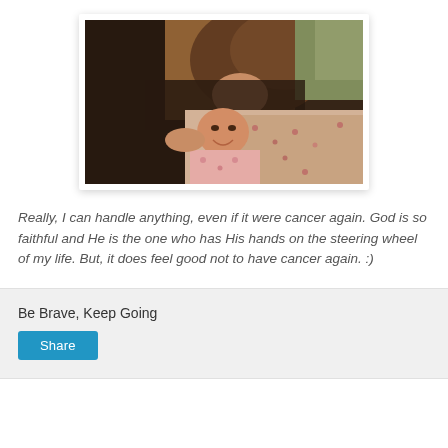[Figure (photo): A woman leaning over and kissing/nuzzling a young child who is lying down smiling, both on a bed with floral bedding. Warm indoor lighting.]
Really, I can handle anything, even if it were cancer again. God is so faithful and He is the one who has His hands on the steering wheel of my life. But, it does feel good not to have cancer again. :)
Be Brave, Keep Going
Share